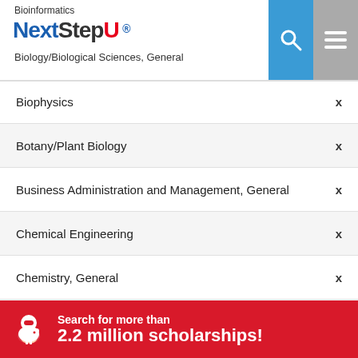Bioinformatics | NextStepU | Biology/Biological Sciences, General
Biophysics
Botany/Plant Biology
Business Administration and Management, General
Chemical Engineering
Chemistry, General
Childhood Education
City/Urban, Community and Regional Planning
Civil Engineering, General
Commercial and Advertising Art
Computer Engineering, General
Dairy Science
Search for more than 2.2 million scholarships!